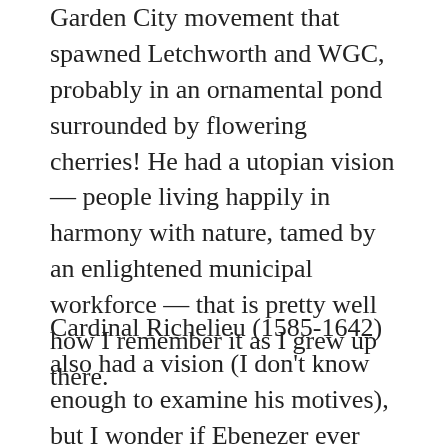( ) Garden City movement that spawned Letchworth and WGC, probably in an ornamental pond surrounded by flowering cherries! He had a utopian vision — people living happily in harmony with nature, tamed by an enlightened municipal workforce — that is pretty well how I remember it as I grew up there.
Cardinal Richelieu (1585-1642) also had a vision (I don't know enough to examine his motives), but I wonder if Ebenezer ever visited the cardinal's hometown in Indre-et-Loire, France. The moment we